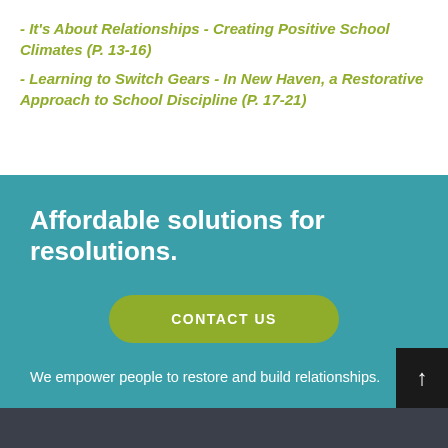- It's About Relationships - Creating Positive School Climates (P. 13-16)
- Learning to Switch Gears - In New Haven, a Restorative Approach to School Discipline (P. 17-21)
Affordable solutions for resolutions.
CONTACT US
We empower people to restore and build relationships.